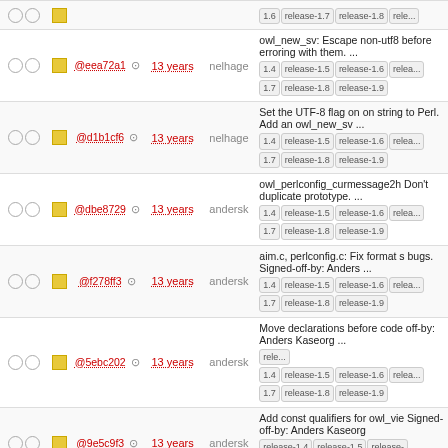|  |  | hash | age | author | message |
| --- | --- | --- | --- | --- | --- |
| ○○ | ■ | @eea72a1 | 13 years | nelhage | owl_new_sv: Escape non-utf8 before erroring with them. ... 1.4 release-1.5 release-1.6 release-1.7 release-1.8 release-1.9 |
| ○○ | ■ | @d1b1cf6 | 13 years | nelhage | Set the UTF-8 flag on on string to Perl. Add an owl_new_sv ... 1.4 release-1.5 release-1.6 release-1.7 release-1.8 release-1.9 |
| ○○ | ■ | @dbe8729 | 13 years | andersk | owl_perlconfig_curmessage2h Don't duplicate prototype. ... 1.4 release-1.5 release-1.6 release-1.7 release-1.8 release-1.9 |
| ○○ | ■ | @f278ff3 | 13 years | andersk | aim.c, perlconfig.c: Fix format s bugs. Signed-off-by: Anders ... 1.4 release-1.5 release-1.6 release-1.7 release-1.8 release-1.9 |
| ○○ | ■ | @5ebc202 | 13 years | andersk | Move declarations before code off-by: Anders Kaseorg ... 1.4 release-1.5 release-1.6 release-1.7 release-1.8 release-1.9 |
| ○○ | ■ | @9e5c9f3 | 13 years | andersk | Add const qualifiers for owl_vie Signed-off-by: Anders Kaseorg release-1.4 release-1.5 release-1.6 release-1.7 release-1.8 release-1.9 |
| ○○ | ■ | @4542047 | 13 years | andersk | Add const qualifiers for owl_filt Signed-off-by: Anders Kaseorg release-1.4 release-1.5 release-1.6 release-1.7 release-1.8 release-1.9 |
| ○○ | ■ | @c08c70a | 13 years | andersk | Add const qualifiers for owl_me Signed-off-by: Anders Kaseorg release-1.4 release-1.5 release-1.6 |